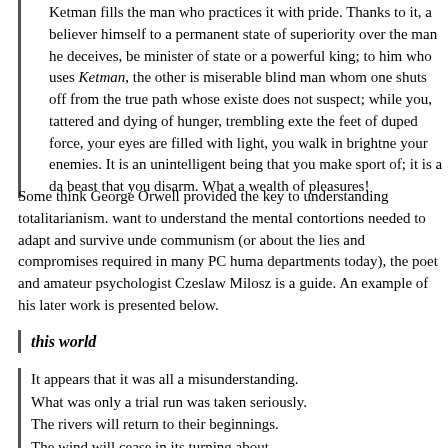Ketman fills the man who practices it with pride. Thanks to it, a believer himself to a permanent state of superiority over the man he deceives, be minister of state or a powerful king; to him who uses Ketman, the other is miserable blind man whom one shuts off from the true path whose existe does not suspect; while you, tattered and dying of hunger, trembling exte the feet of duped force, your eyes are filled with light, you walk in brightne your enemies. It is an unintelligent being that you make sport of; it is a da beast that you disarm. What a wealth of pleasures!
Some think George Orwell provided the key to understanding totalitarianism. want to understand the mental contortions needed to adapt and survive unde communism (or about the lies and compromises required in many PC huma departments today), the poet and amateur psychologist Czeslaw Milosz is a guide. An example of his later work is presented below.
this world
It appears that it was all a misunderstanding.
What was only a trial run was taken seriously.
The rivers will return to their beginnings.
The wind will cease in its turning about.
Trees instead of budding will tend to their oots.
Old men will chase a ball, a glance in the mirror—
They are children again.
The dead will wake up, not comprehending.
Till everything that happened has unhappened.